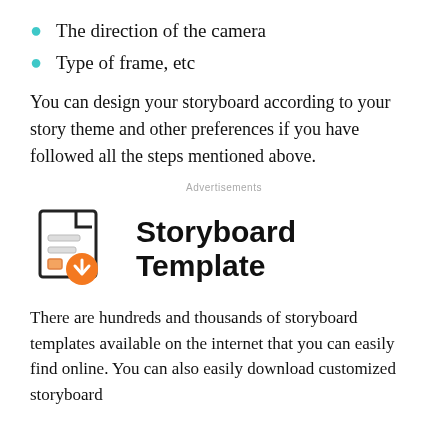The direction of the camera
Type of frame, etc
You can design your storyboard according to your story theme and other preferences if you have followed all the steps mentioned above.
Advertisements
[Figure (illustration): Icon of a document/file with lines and a small square, overlaid with an orange download button (arrow pointing down in a circle)]
Storyboard Template
There are hundreds and thousands of storyboard templates available on the internet that you can easily find online. You can also easily download customized storyboard